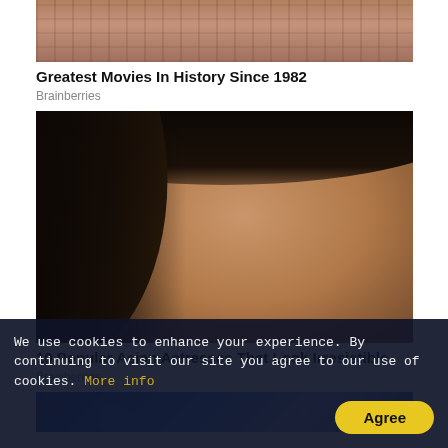[Figure (photo): Partial view of a movie-related image — close-up showing bronzed/scaled texture, cropped at top]
Greatest Movies In History Since 1982
Brainberries
[Figure (photo): Portrait of a dark-haired woman with heavy makeup, large eyelashes, and jeweled earrings, looking upward against a grey wall background]
10 Popular Asian Actresses That Look Irresistible
Brainberries
[Figure (photo): Partial view of a blue-toned image at the bottom, cropped]
We use cookies to enhance your experience. By continuing to visit our site you agree to our use of cookies. More info